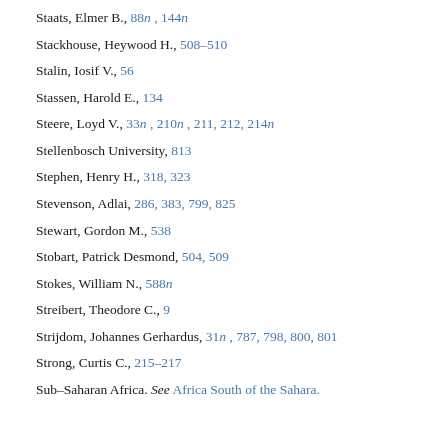Staats, Elmer B., 88n , 144n
Stackhouse, Heywood H., 508–510
Stalin, Iosif V., 56
Stassen, Harold E., 134
Steere, Loyd V., 33n , 210n , 211, 212, 214n
Stellenbosch University, 813
Stephen, Henry H., 318, 323
Stevenson, Adlai, 286, 383, 799, 825
Stewart, Gordon M., 538
Stobart, Patrick Desmond, 504, 509
Stokes, William N., 588n
Streibert, Theodore C., 9
Strijdom, Johannes Gerhardus, 31n , 787, 798, 800, 801
Strong, Curtis C., 215–217
Sub–Saharan Africa. See Africa South of the Sahara.